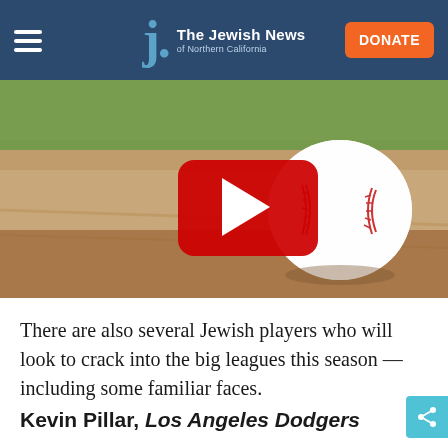The Jewish News of Northern California
[Figure (photo): Baseball resting on sandy infield dirt with green grass blurred in background, with YouTube play button overlay]
There are also several Jewish players who will look to crack into the big leagues this season — including some familiar faces.
Kevin Pillar, Los Angeles Dodgers